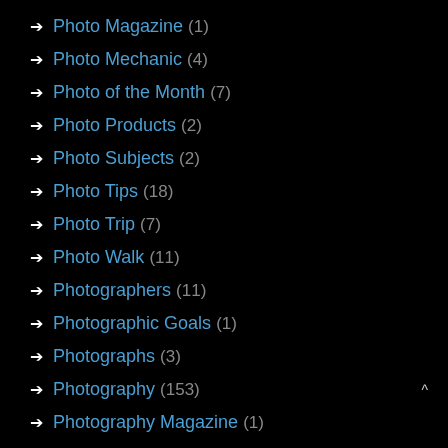➔ Photo Magazine (1)
➔ Photo Mechanic (4)
➔ Photo of the Month (7)
➔ Photo Products (2)
➔ Photo Subjects (2)
➔ Photo Tips (18)
➔ Photo Trip (7)
➔ Photo Walk (11)
➔ Photographers (11)
➔ Photographic Goals (1)
➔ Photographs (3)
➔ Photography (153)
➔ Photography Magazine (1)